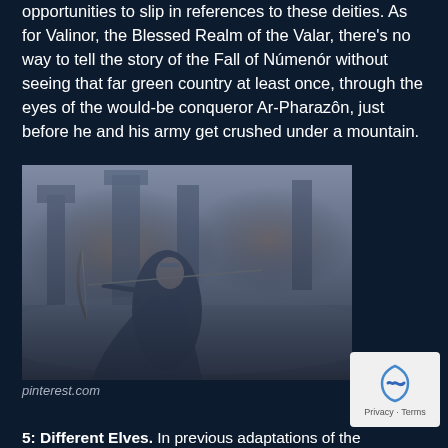opportunities to slip in references to these deities. As for Valinor, the Blessed Realm of the Valar, there's no way to tell the story of the Fall of Númenór without seeing that far green country at least once, through the eyes of the would-be conqueror Ar-Pharazôn, just before he and his army get crushed under a mountain.
[Figure (photo): Fantasy illustration of a female elven archer in dark armor drawing a bow, with burning city towers in the misty background.]
pinterest.com
5: Different Elves. In previous adaptations of the